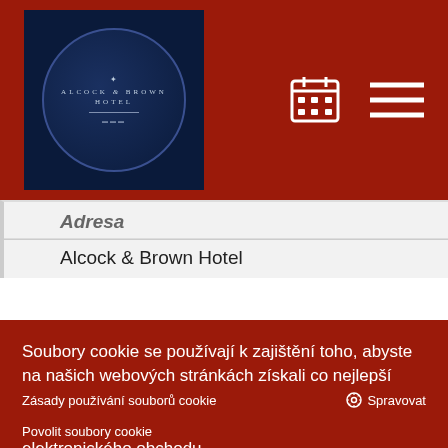[Figure (logo): Alcock & Brown Hotel logo — circular emblem on dark navy background, white text with eagle/wings motif]
Adresa
Alcock & Brown Hotel
Soubory cookie se používají k zajištění toho, abyste na našich webových stránkách získali co nejlepší zážitek. To zahrnuje zobrazování informací ve vašem místním jazyce, pokud jsou k dispozici, a analýzy elektronického obchodu.
Zásady používání souborů cookie
Spravovat
Povolit soubory cookie